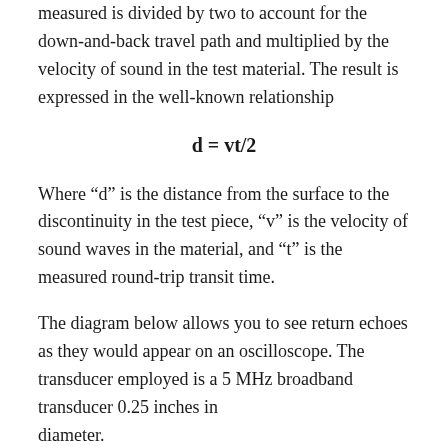measured is divided by two to account for the down-and-back travel path and multiplied by the velocity of sound in the test material. The result is expressed in the well-known relationship
Where “d” is the distance from the surface to the discontinuity in the test piece, “v” is the velocity of sound waves in the material, and “t” is the measured round-trip transit time.
The diagram below allows you to see return echoes as they would appear on an oscilloscope. The transducer employed is a 5 MHz broadband transducer 0.25 inches in diameter.